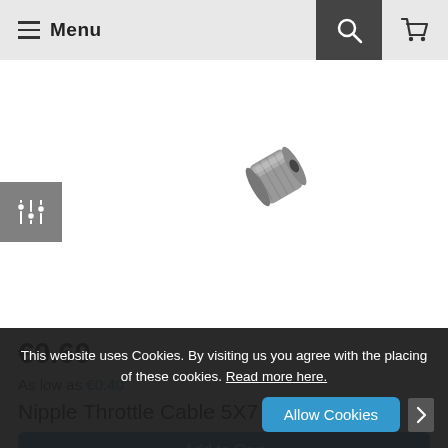Menu
[Figure (photo): Small metal cylindrical nipple/barrel connector for throttle cable, 5x7mm, shown on white background]
€0.60
As low as €0.40
Nipple Throttle Cable 5X7
Add to Cart
This website uses Cookies. By visiting us you agree with the placing of these cookies. Read more here.
Allow Cookies